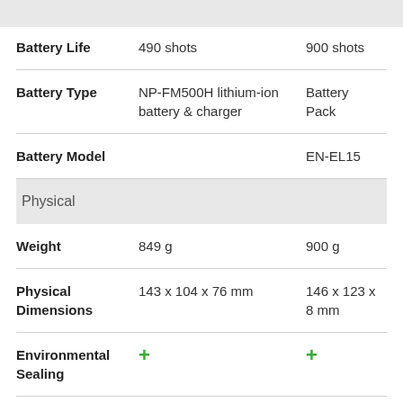| Feature | Camera 1 | Camera 2 |
| --- | --- | --- |
| Battery Life | 490 shots | 900 shots |
| Battery Type | NP-FM500H lithium-ion battery & charger | Battery Pack |
| Battery Model |  | EN-EL15 |
| Physical |  |  |
| Weight | 849 g | 900 g |
| Physical Dimensions | 143 x 104 x 76 mm | 146 x 123 x 8 mm |
| Environmental Sealing | + | + |
| Water Proof | — | — |